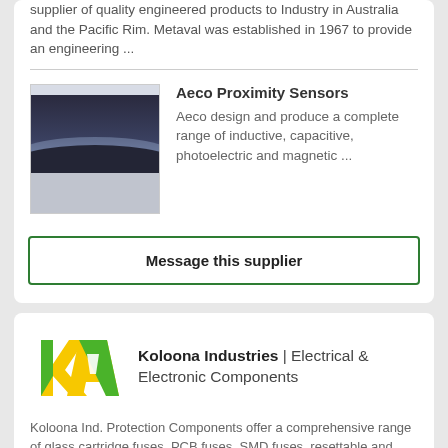supplier of quality engineered products to Industry in Australia and the Pacific Rim. Metaval was established in 1967 to provide an engineering ...
Aeco Proximity Sensors
Aeco design and produce a complete range of inductive, capacitive, photoelectric and magnetic ...
Message this supplier
Koloona Industries | Electrical & Electronic Components
Koloona Ind. Protection Components offer a comprehensive range of glass cartridge fuses, PCB fuses, SMD fuses, resettable and non-resettable, suitable for uses such as automatic